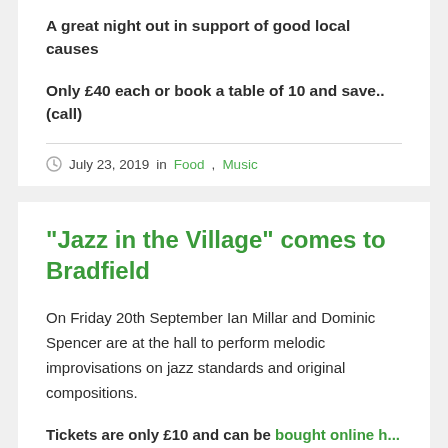A great night out in support of good local causes
Only £40 each or book a table of 10 and save.. (call)
July 23, 2019 in Food, Music
“Jazz in the Village” comes to Bradfield
On Friday 20th September Ian Millar and Dominic Spencer are at the hall to perform melodic improvisations on jazz standards and original compositions.
Tickets are only £10 and can be bought online h...